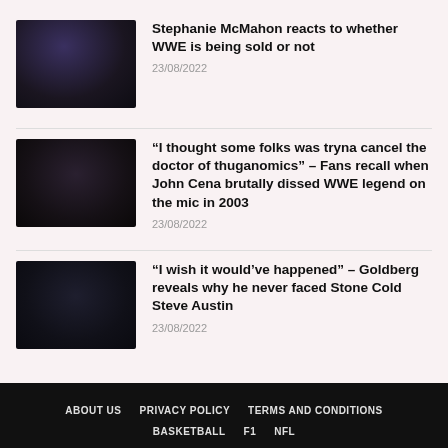[Figure (photo): Blurred dark thumbnail image for WWE article 1]
Stephanie McMahon reacts to whether WWE is being sold or not
23/08/2022
[Figure (photo): Blurred dark thumbnail image for WWE article 2]
“I thought some folks was tryna cancel the doctor of thuganomics” – Fans recall when John Cena brutally dissed WWE legend on the mic in 2003
23/08/2022
[Figure (photo): Blurred dark thumbnail image for WWE article 3]
“I wish it would’ve happened” – Goldberg reveals why he never faced Stone Cold Steve Austin
23/08/2022
ABOUT US   PRIVACY POLICY   TERMS AND CONDITIONS   BASKETBALL   F1   NFL   THESPORTSRUSH